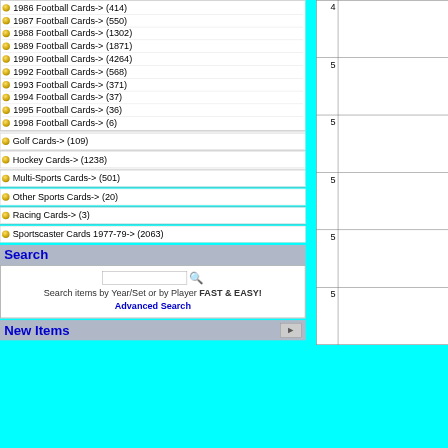1986 Football Cards-> (414)
1987 Football Cards-> (550)
1988 Football Cards-> (1302)
1989 Football Cards-> (1871)
1990 Football Cards-> (4264)
1992 Football Cards-> (568)
1993 Football Cards-> (371)
1994 Football Cards-> (37)
1995 Football Cards-> (36)
1998 Football Cards-> (6)
Golf Cards-> (109)
Hockey Cards-> (1238)
Multi-Sports Cards-> (501)
Other Sports Cards-> (20)
Racing Cards-> (3)
Sportscaster Cards 1977-79-> (2063)
Search
Search items by Year/Set or by Player FAST & EASY!
Advanced Search
New Items
|  |  |
| --- | --- |
| 4 |  |
| 5 |  |
| 5 |  |
| 5 |  |
| 5 |  |
| 5 |  |